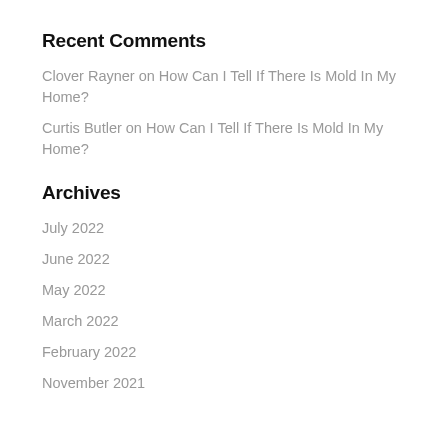Recent Comments
Clover Rayner on How Can I Tell If There Is Mold In My Home?
Curtis Butler on How Can I Tell If There Is Mold In My Home?
Archives
July 2022
June 2022
May 2022
March 2022
February 2022
November 2021